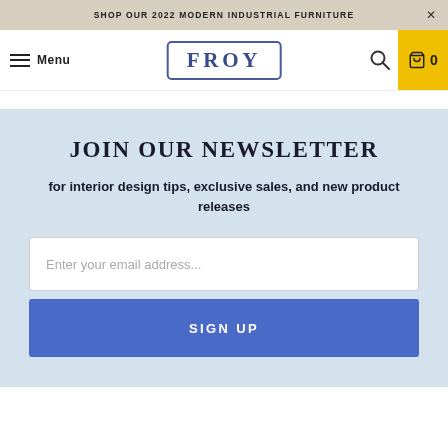SHOP OUR 2022 MODERN INDUSTRIAL FURNITURE ×
Menu FROY 🔍 0
JOIN OUR NEWSLETTER
for interior design tips, exclusive sales, and new product releases
Enter your email address...
SIGN UP